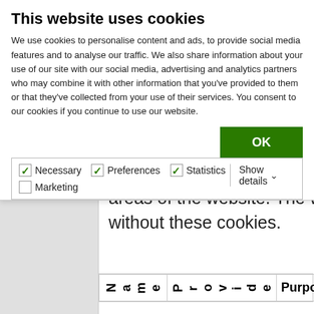This website uses cookies
We use cookies to personalise content and ads, to provide social media features and to analyse our traffic. We also share information about your use of our site with our social media, advertising and analytics partners who may combine it with other information that you've provided to them or that they've collected from your use of their services. You consent to our cookies if you continue to use our website.
OK
Necessary  Preferences  Statistics  Marketing  Show details
areas of the website. The website cannot function properly without these cookies.
| Name | Provider | Purpose | Expir… |
| --- | --- | --- | --- |